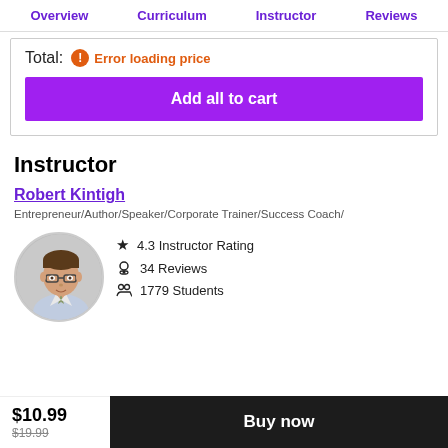Overview  Curriculum  Instructor  Reviews
Total: Error loading price
Add all to cart
Instructor
Robert Kintigh
Entrepreneur/Author/Speaker/Corporate Trainer/Success Coach/
[Figure (photo): Circular portrait photo of Robert Kintigh, a man wearing glasses and a dress shirt with tie]
4.3 Instructor Rating
34 Reviews
1779 Students
$10.99  $19.99  Buy now